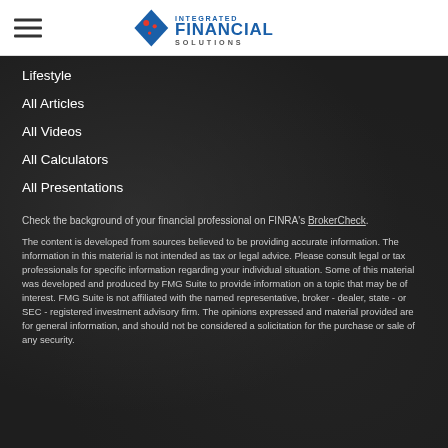[Figure (logo): Integrated Financial Solutions logo with blue diamond shape and company name]
Lifestyle
All Articles
All Videos
All Calculators
All Presentations
Check the background of your financial professional on FINRA's BrokerCheck.
The content is developed from sources believed to be providing accurate information. The information in this material is not intended as tax or legal advice. Please consult legal or tax professionals for specific information regarding your individual situation. Some of this material was developed and produced by FMG Suite to provide information on a topic that may be of interest. FMG Suite is not affiliated with the named representative, broker - dealer, state - or SEC - registered investment advisory firm. The opinions expressed and material provided are for general information, and should not be considered a solicitation for the purchase or sale of any security.